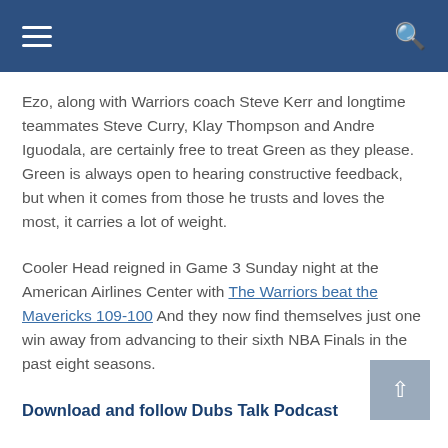Navigation bar with hamburger menu and search icon
Ezo, along with Warriors coach Steve Kerr and longtime teammates Steve Curry, Klay Thompson and Andre Iguodala, are certainly free to treat Green as they please. Green is always open to hearing constructive feedback, but when it comes from those he trusts and loves the most, it carries a lot of weight.
Cooler Head reigned in Game 3 Sunday night at the American Airlines Center with The Warriors beat the Mavericks 109-100 And they now find themselves just one win away from advancing to their sixth NBA Finals in the past eight seasons.
Download and follow Dubs Talk Podcast